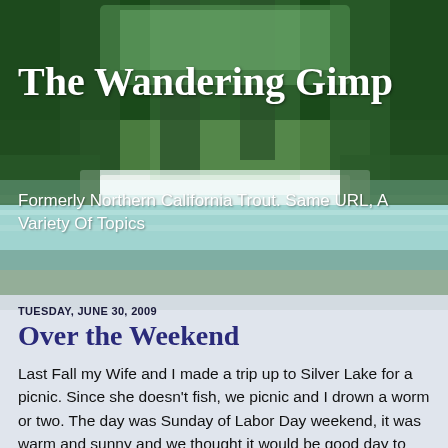[Figure (photo): Forest scene with waterfall and turquoise water, green trees]
The Wandering Gimp
Formerly Northern California Trout. Same URL, A Variety Of Topics
TUESDAY, JUNE 30, 2009
Over the Weekend
Last Fall my Wife and I made a trip up to Silver Lake for a picnic. Since she doesn't fish, we picnic and I drown a worm or two. The day was Sunday of Labor Day weekend, it was warm and sunny and we thought it would be good day to spend together. When we got there, there must have been 50 or more people and dogs swimming in the lake, partying, and generally making a lot of noise. We found a little spot in the shade and tried to enjoy ourselves. Fishing was impossible and after an hour or so of screaming, splashing, and people walking between you and the lake, we called it a